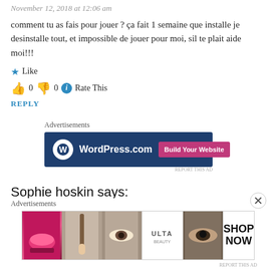November 12, 2018 at 12:06 am
comment tu as fais pour jouer ? ça fait 1 semaine que installe je desinstalle tout, et impossible de jouer pour moi, sil te plait aide moi!!!
★ Like
👍 0 👎 0 ℹ Rate This
REPLY
Advertisements
[Figure (other): WordPress.com advertisement banner with logo and 'Build Your Website' button]
REPORT THIS AD
Sophie hoskin says:
Advertisements
[Figure (other): ULTA Beauty advertisement banner with makeup photos and 'SHOP NOW' text]